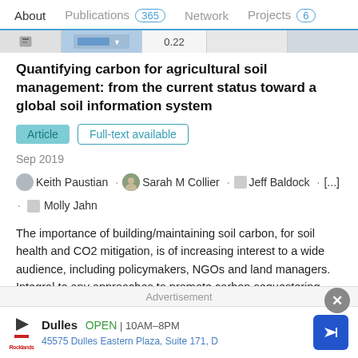About  Publications 365  Network  Projects 6
Quantifying carbon for agricultural soil management: from the current status toward a global soil information system
Article  Full-text available
Sep 2019
Keith Paustian · Sarah M Collier · Jeff Baldock · [...] · Molly Jahn
The importance of building/maintaining soil carbon, for soil health and CO2 mitigation, is of increasing interest to a wide audience, including policymakers, NGOs and land managers. Integral to any approaches to promote carbon sequestering practices in managed soils are reliable, accurate and cost-effective means to quantify soil C stock changes an...
View
Advertisement
Dulles  OPEN | 10AM–8PM
45575 Dulles Eastern Plaza, Suite 171, D